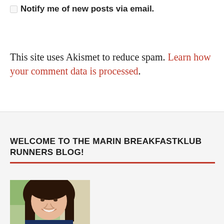Notify me of new posts via email.
This site uses Akismet to reduce spam. Learn how your comment data is processed.
WELCOME TO THE MARIN BREAKFASTKLUB RUNNERS BLOG!
[Figure (photo): Portrait photo of a woman with long dark brown hair, smiling, outdoors with green foliage in background]